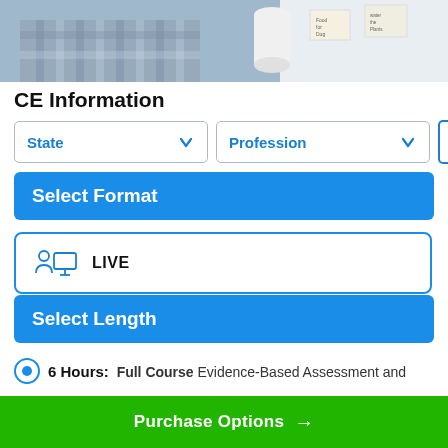[Figure (photo): Photo of a person in a checkered shirt with light background and sticky notes on wall]
CE Information
State dropdown | Profession dropdown | Search button
Select Format
LIVE
Select Length
6 Hours: Full Course Evidence-Based Assessment and
Purchase Options →